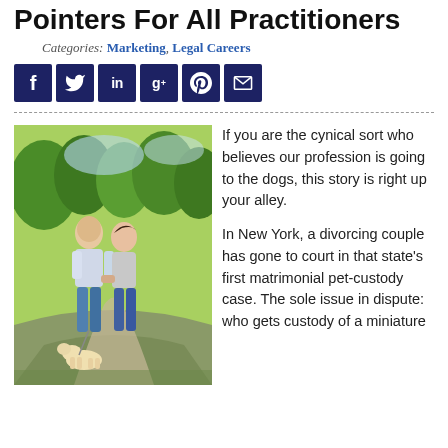Pointers For All Practitioners
Categories: Marketing, Legal Careers
[Figure (infographic): Social media share icons: Facebook, Twitter, LinkedIn, Google+, Pinterest, Email — white icons on dark navy background squares]
[Figure (photo): A couple walking a dog in a park on a sunny day, holding hands, with green trees in the background]
If you are the cynical sort who believes our profession is going to the dogs, this story is right up your alley.

In New York, a divorcing couple has gone to court in that state's first matrimonial pet-custody case. The sole issue in dispute: who gets custody of a miniature